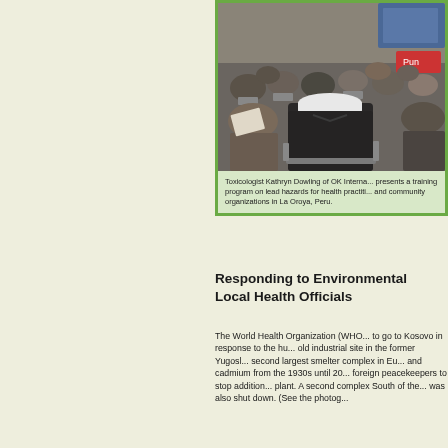[Figure (photo): Group of people seated in chairs attending a training or presentation session, viewed from behind. A person in a white cap and dark jacket is prominently visible in the foreground.]
Toxicologist Kathryn Dowling of OK International presents a training program on lead hazards for health practitioners and community organizations in La Oroya, Peru.
Responding to Environmental Threats: Local Health Officials
The World Health Organization (WHO) asked OK International to go to Kosovo in response to the humanitarian crisis at an old industrial site in the former Yugoslavia. Once home to the second largest smelter complex in Europe, it processed lead and cadmium from the 1930s until 2000, when pressure from foreign peacekeepers to stop additional pollution shut down the plant. A second complex South of the smelter in Zvecan, Kosovo was also shut down. (See the photog...